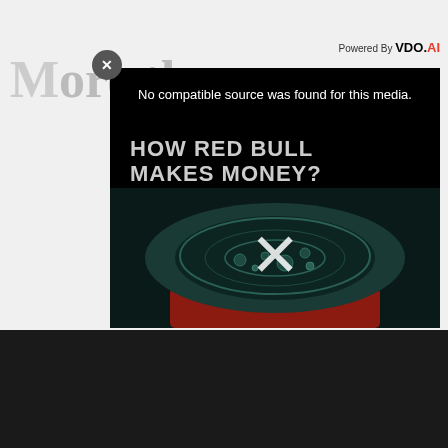M ore than my o...
[Figure (screenshot): Video ad overlay with black background. Shows 'Powered By VDO.AI' label, a close (X) button, text 'No compatible source was found for this media.', bold text 'HOW RED BULL MAKES MONEY?', and an image of a Red Bull can top with bubbles and a large X mark.]
[Figure (screenshot): Dark bottom banner with Pinterest and Facebook social share buttons, 'helpful' and 'non helpful' feedback buttons, and partial quote text 'I continuously go' in large white bold font.]